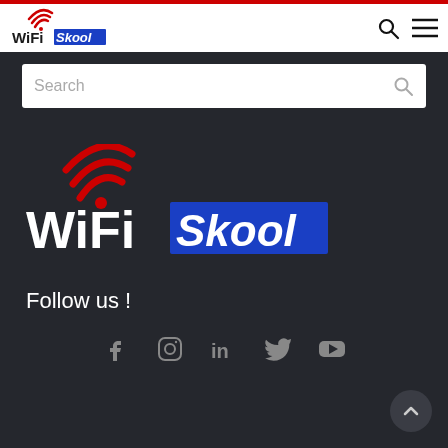[Figure (logo): WiFi Skool logo in navigation bar, white background with red WiFi icon and blue Skool box]
[Figure (screenshot): Search bar with placeholder text Search and magnifying glass icon on dark background]
[Figure (logo): Large WiFi Skool logo on dark background with red WiFi signal arcs, white WiFi text and blue Skool rectangle]
Follow us !
[Figure (infographic): Row of social media icons: Facebook, Instagram, LinkedIn, Twitter, YouTube on dark background]
[Figure (other): Back to top button, circular dark button with upward chevron arrow]